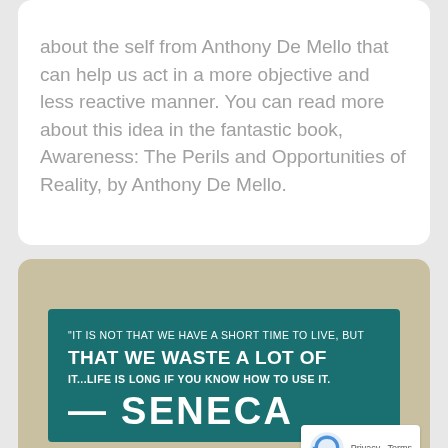about the self from Anthony De Mello that can help us act in a more objective and less reactive manner. You can read more about this idea in the fantastic book, Awareness: The Perils and Opportunities of Reality, by Anthony De Mello.
[Figure (illustration): Teal/green book cover or quote card on a beige background showing a Seneca quote: 'It is not that we have a short time to live, but that we waste a lot of it...Life is long if you know how to use it.' — Seneca]